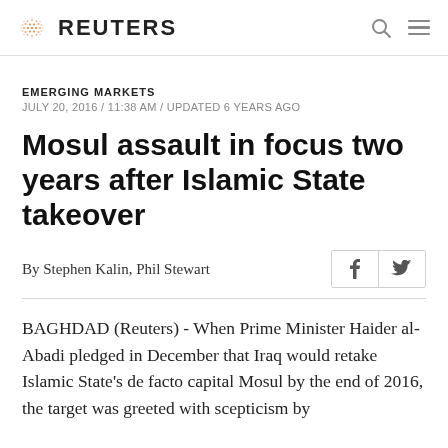REUTERS
EMERGING MARKETS
JULY 20, 2016 / 11:38 AM / UPDATED 6 YEARS AGO
Mosul assault in focus two years after Islamic State takeover
By Stephen Kalin, Phil Stewart
BAGHDAD (Reuters) - When Prime Minister Haider al-Abadi pledged in December that Iraq would retake Islamic State's de facto capital Mosul by the end of 2016, the target was greeted with scepticism by